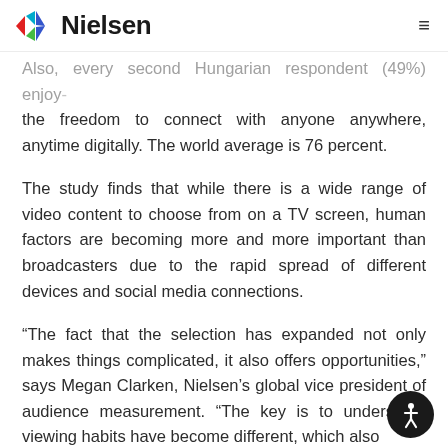Nielsen
Also, every second Hungarian respondent (49%) enjoy the freedom to connect with anyone anywhere, anytime digitally. The world average is 76 percent.
The study finds that while there is a wide range of video content to choose from on a TV screen, human factors are becoming more and more important than broadcasters due to the rapid spread of different devices and social media connections.
“The fact that the selection has expanded not only makes things complicated, it also offers opportunities,” says Megan Clarken, Nielsen’s global vice president of audience measurement. “The key is to understand viewing habits have become different, which also determines the claims of further changes. The call...